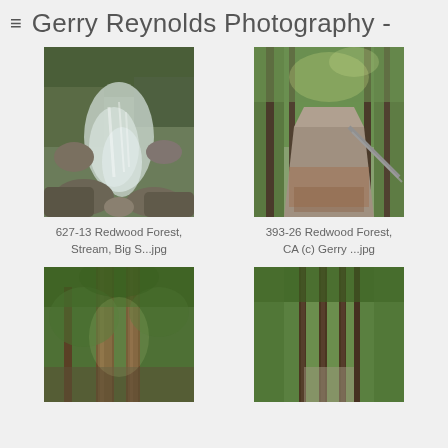≡  Gerry Reynolds Photography -
[Figure (photo): Forest stream flowing over rocks in Redwood Forest, Big Sur]
627-13 Redwood Forest, Stream, Big S...jpg
[Figure (photo): Road through Redwood Forest, CA with guardrail and fallen leaves]
393-26 Redwood Forest, CA (c) Gerry ...jpg
[Figure (photo): Tall redwood trees viewed from below looking up in a forest]
[Figure (photo): Tall redwood trees in forest with light filtering through canopy]